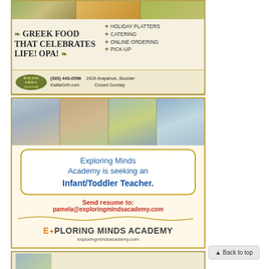[Figure (illustration): Advertisement for Kalita Grill Greek restaurant. Shows food photos at top, text 'GREEK FOOD THAT CELEBRATES LIFE! OPA!' with olive wreath decorations, bullet points: HOLIDAY PLATTERS, CATERING, ONLINE ORDERING, PICK-UP. Bottom section shows Kalita Grill logo, phone (303) 443-0596, address 2426 Arapahoe Boulder, KalitaGrill.com, Closed Sunday.]
[Figure (illustration): Advertisement for Exploring Minds Academy. Shows children photos at top. Text reads: 'Exploring Minds Academy is seeking an Infant/Toddler Teacher.' Send resume to: pamela@exploringmindsacademy.com. Logo: EXPLORING MINDS ACADEMY, exploringmindsacademy.com]
[Figure (illustration): Partial advertisement visible at bottom of page, cut off.]
▲ Back to top